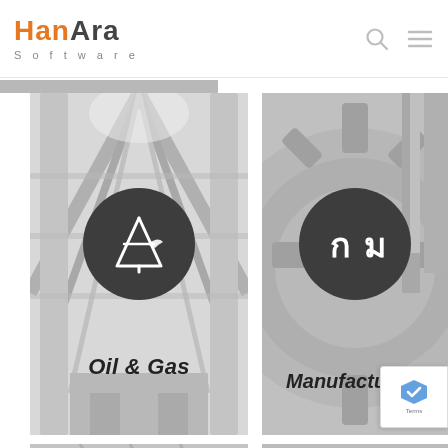[Figure (logo): HanAra Software logo with orange 'Han' and dark 'Ara' text, 'Software' subtitle in grey]
[Figure (illustration): Oil & Gas industry card with grayscale pipeline/industrial structure background, dark circle icon with oil derrick symbol, label 'Oil & Gas']
[Figure (illustration): Manufacturing industry card with grayscale gear/turbine background, dark circle icon with Thai/stylized factory symbol, label 'Manufacturing']
[Figure (illustration): Bottom-left partially visible industry card]
[Figure (illustration): Bottom-right partially visible industry card]